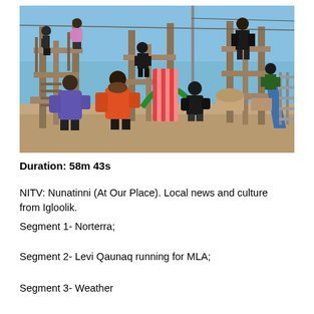[Figure (photo): Children playing on a wooden playground structure outdoors on a sunny day. Several kids in winter jackets are climbing, sliding, and playing. Background shows an open flat landscape with utility poles and a blue sky.]
Duration: 58m 43s
NITV: Nunatinni (At Our Place). Local news and culture from Igloolik.
Segment 1- Norterra;
Segment 2- Levi Qaunaq running for MLA;
Segment 3- Weather